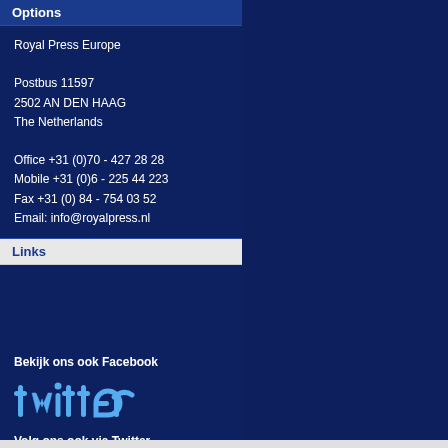Options
Royal Press Europe

Postbus 11597
2502 AN DEN HAAG
The Netherlands

Office +31 (0)70 - 427 28 28
Mobile +31 (0)6 - 225 44 223
Fax +31 (0) 84 - 754 03 52
Email: info@royalpress.nl
Links
Bekijk ons ook Facebook
[Figure (logo): Twitter logo in sky blue stylized text]
Volg ons ook via Twitter
Bekijk ook ons Youtube kanaal